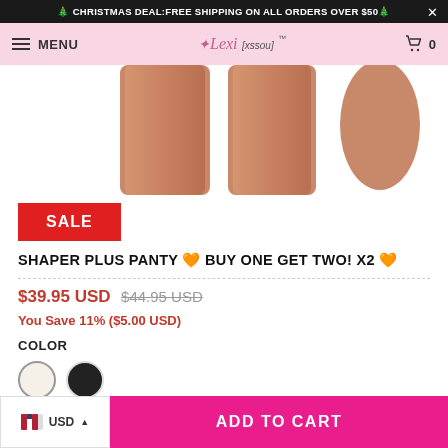🎄 CHRISTMAS DEAL:FREE SHIPPING ON ALL ORDERS OVER $50🎄
MENU | Lexi[xssou]™ | 0
[Figure (photo): Product photo of shapewear panty showing model's legs in skin-toned shaping garment]
SALE
SHAPER PLUS PANTY 🧡 BUY ONE GET TWO! X2 🧡
$39.95 USD $44.95 USD
You Save 11% ($5.00 USD)
COLOR
ADD TO CART